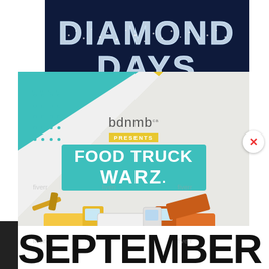[Figure (illustration): Diamond Days banner with dark navy background and sparkly/dotted white lettering reading DIAMOND DAYS]
[Figure (illustration): bdnmb presents Food Truck Warz promotional flyer with teal and yellow geometric design, cartoon food trucks, and large SEPTEMBER text at bottom]